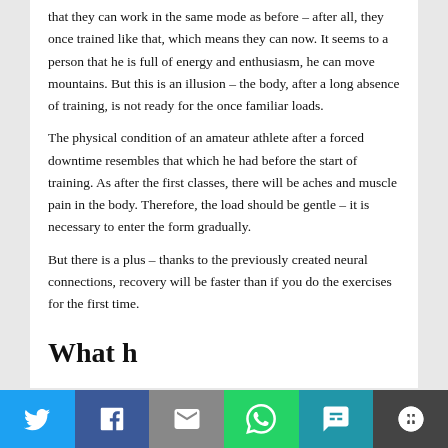that they can work in the same mode as before – after all, they once trained like that, which means they can now. It seems to a person that he is full of energy and enthusiasm, he can move mountains. But this is an illusion – the body, after a long absence of training, is not ready for the once familiar loads.
The physical condition of an amateur athlete after a forced downtime resembles that which he had before the start of training. As after the first classes, there will be aches and muscle pain in the body. Therefore, the load should be gentle – it is necessary to enter the form gradually.
But there is a plus – thanks to the previously created neural connections, recovery will be faster than if you do the exercises for the first time.
What h...